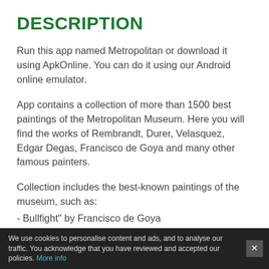DESCRIPTION
Run this app named Metropolitan or download it using ApkOnline. You can do it using our Android online emulator.
App contains a collection of more than 1500 best paintings of the Metropolitan Museum. Here you will find the works of Rembrandt, Durer, Velasquez, Edgar Degas, Francisco de Goya and many other famous painters.
Collection includes the best-known paintings of the museum, such as:
- Bullfight" by Francisco de Goya
We use cookies to personalise content and ads, and to analyse our traffic. You acknowledge that you have reviewed and accepted our policies. More info